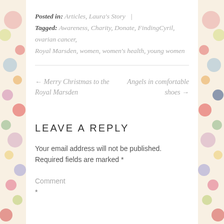Posted in: Articles, Laura's Story | Tagged: Awareness, Charity, Donate, FindingCyril, ovarian cancer, Royal Marsden, women, women's health, young women
← Merry Christmas to the Royal Marsden
Angels in comfortable shoes →
LEAVE A REPLY
Your email address will not be published. Required fields are marked *
Comment
*